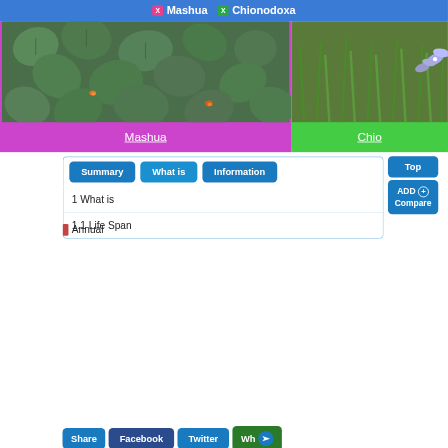X Mashua   X Chionodoxa
[Figure (photo): Photo of Mashua plant with rounded green leaves, shown in a purple-bordered card. Partially visible Chionodoxa photo in green-bordered card to the right.]
Mashua
Chio
Summary   What is   Information
1 What is
1.1 Life Span
Annual
Top
ADD ⊕ Compare
Share   Facebook   Twitter   Wh